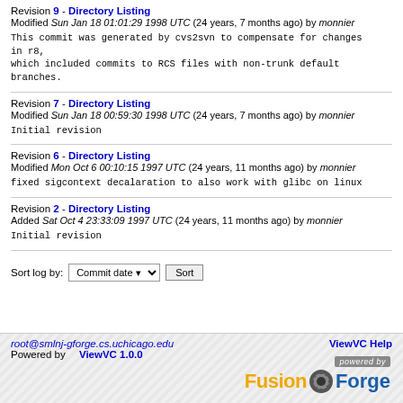Revision 9 - Directory Listing
Modified Sun Jan 18 01:01:29 1998 UTC (24 years, 7 months ago) by monnier

This commit was generated by cvs2svn to compensate for changes in r8,
which included commits to RCS files with non-trunk default branches.
Revision 7 - Directory Listing
Modified Sun Jan 18 00:59:30 1998 UTC (24 years, 7 months ago) by monnier

Initial revision
Revision 6 - Directory Listing
Modified Mon Oct 6 00:10:15 1997 UTC (24 years, 11 months ago) by monnier

fixed sigcontext decalaration to also work with glibc on linux
Revision 2 - Directory Listing
Added Sat Oct 4 23:33:09 1997 UTC (24 years, 11 months ago) by monnier

Initial revision
Sort log by: Commit date [dropdown] Sort [button]
root@smlnj-gforge.cs.uchicago.edu   ViewVC Help
Powered by ViewVC 1.0.0